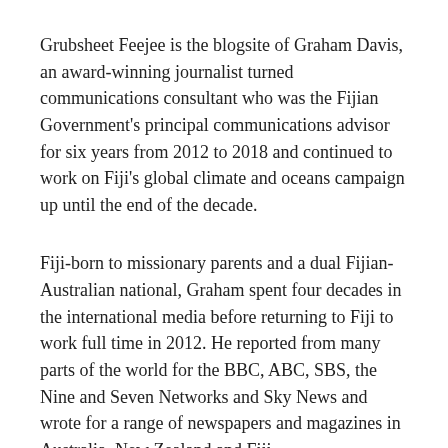Grubsheet Feejee is the blogsite of Graham Davis, an award-winning journalist turned communications consultant who was the Fijian Government's principal communications advisor for six years from 2012 to 2018 and continued to work on Fiji's global climate and oceans campaign up until the end of the decade.
Fiji-born to missionary parents and a dual Fijian-Australian national, Graham spent four decades in the international media before returning to Fiji to work full time in 2012. He reported from many parts of the world for the BBC, ABC, SBS, the Nine and Seven Networks and Sky News and wrote for a range of newspapers and magazines in Australia, New Zealand and Fiji.
Graham launched Grubsheet Feejee in 2011 and